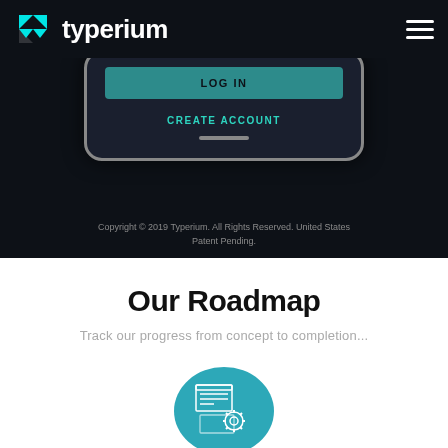[Figure (screenshot): Typerium website header with logo and hamburger menu on dark background, showing a smartphone screen with LOG IN button and CREATE ACCOUNT link]
Copyright © 2019 Typerium. All Rights Reserved. United States Patent Pending.
Our Roadmap
Track our progress from concept to completion...
[Figure (illustration): Teal circular icon with white line-art depicting stacked documents and cog/settings wheel]